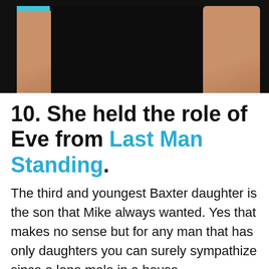[Figure (photo): Cropped photo showing a person's torso in a black short-sleeve shirt, with both arms visible showing skin tone, and a cyan/teal element on the left side.]
10. She held the role of Eve from Last Man Standing.
The third and youngest Baxter daughter is the son that Mike always wanted. Yes that makes no sense but for any man that has only daughters you can surely sympathize since a lone male in a house filled with females can be kind of daunting. They might all be daddy's girls at one point but there will almost always be one among them that will aspire to be like their father and will outshine him in